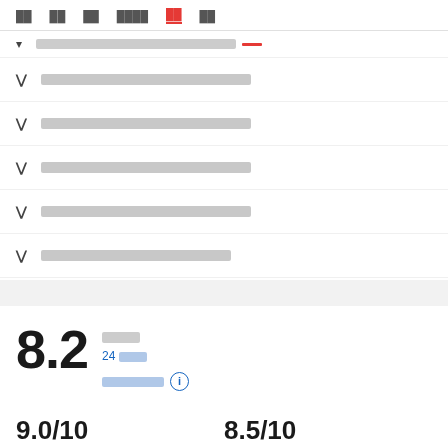██ ██ ██ ████ ██(active) ██
▾ ████████████████████████
▾ ████████████████████████
▾ ████████████████████████
▾ ████████████████████████
▾ ████████████████████████
8.2
███
24 ███
███████ ⓘ
9.0/10  ███
8.5/10  █████